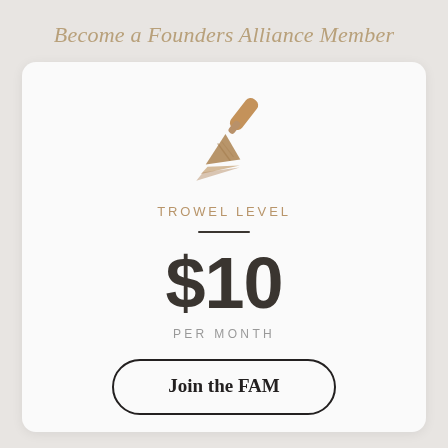Become a Founders Alliance Member
[Figure (illustration): A golden trowel icon (masonry/gardening trowel) pointing lower-left, rendered in a tan/gold color]
TROWEL LEVEL
$10
PER MONTH
Join the FAM